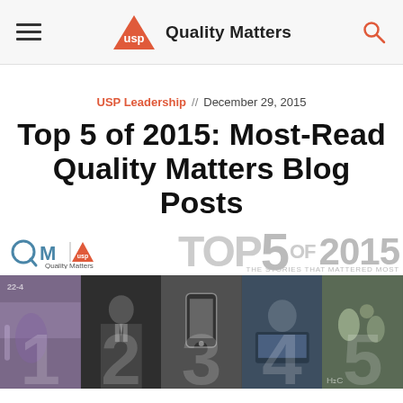USP Quality Matters
USP Leadership // December 29, 2015
Top 5 of 2015: Most-Read Quality Matters Blog Posts
[Figure (illustration): QM Quality Matters | USP logo banner with 'TOP 5 OF 2015 THE STORIES THAT MATTERED MOST' text, followed by a collage of 5 photographic strips showing numbered panels 1-5 with images of lab equipment, a man in a suit, a phone, a person at a laptop, and pills/chemicals.]